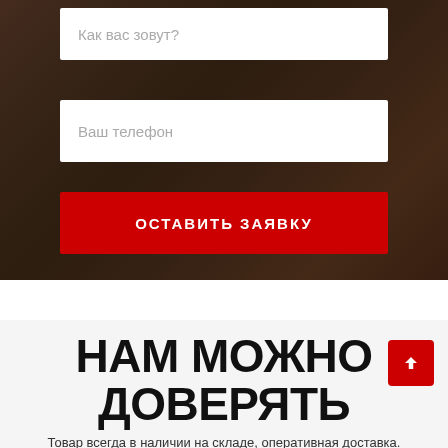Как вас зовут?
Ваш телефон
ОСТАВИТЬ ЗАЯВКУ
Согласен на обработку персональных данных в соответствии с политикой конфиденциальности
НАМ МОЖНО ДОВЕРЯТЬ
Товар всегда в наличии на складе, оперативная доставка.